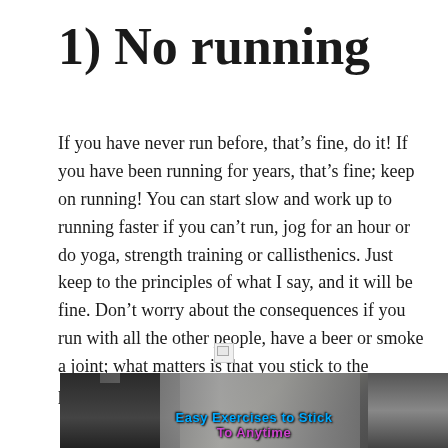1) No running
If you have never run before, that’s fine, do it! If you have been running for years, that’s fine; keep on running! You can start slow and work up to running faster if you can’t run, jog for an hour or do yoga, strength training or callisthenics. Just keep to the principles of what I say, and it will be fine. Don’t worry about the consequences if you run with all the other people, have a beer or smoke a joint; what matters is that you stick to the principles and stick to it for good.
[Figure (photo): Broken image placeholder icon]
[Figure (photo): Gym interior photo showing exercise machines with overlay text reading 'Easy Exercises to Stick To Anytime']